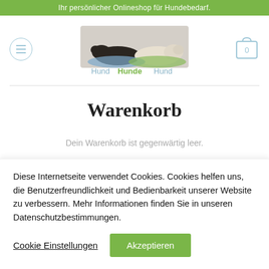Ihr persönlicher Onlineshop für Hundebedarf.
[Figure (logo): HundHundeHund logo with two dogs lying on pet beds and colored text logo below]
Warenkorb
Dein Warenkorb ist gegenwärtig leer.
Diese Internetseite verwendet Cookies. Cookies helfen uns, die Benutzerfreundlichkeit und Bedienbarkeit unserer Website zu verbessern. Mehr Informationen finden Sie in unseren Datenschutzbestimmungen.
Cookie Einstellungen
Akzeptieren